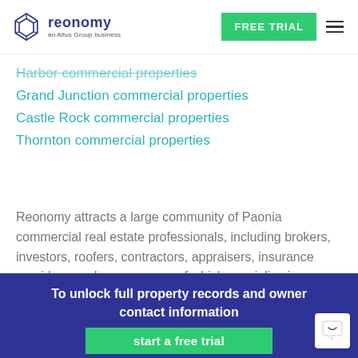reonomy — an Altus Group business | FREE TRIAL
Harbor commercial properties
Grand Junction commercial properties
Castle Rock commercial properties
Thornton commercial properties
Reonomy attracts a large community of Paonia commercial real estate professionals, including brokers, investors, roofers, contractors, appraisers, insurance providers, and more—many of which specialize in commercial properties.
To unlock full property records and owner contact information
start a free trial